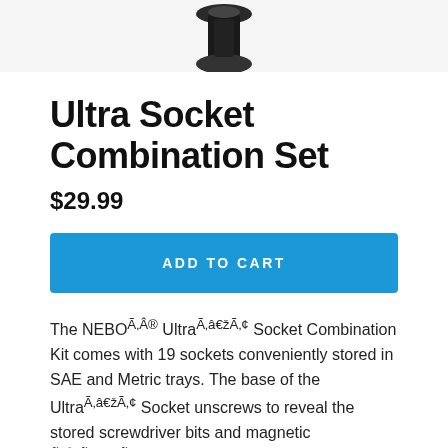[Figure (photo): Partial product image of Ultra Socket Combination Set, showing dark-colored socket tool against light background, cropped at top of page]
Ultra Socket Combination Set
$29.99
ADD TO CART
The NEBOÃÂ® UltraÃÂ¢ÃÂ¢ Socket Combination Kit comes with 19 sockets conveniently stored in SAE and Metric trays. The base of the UltraÃÂ¢ÃÂ¢ Socket unscrews to reveal the stored screwdriver bits and magnetic ÃÂ¦ÃÂ¢ bit holder. The base of the ultraÃÂ¢ÃÂ¢